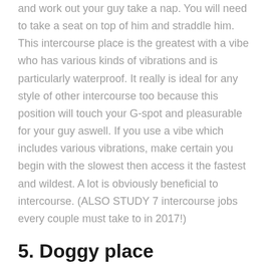and work out your guy take a nap. You will need to take a seat on top of him and straddle him. This intercourse place is the greatest with a vibe who has various kinds of vibrations and is particularly waterproof. It really is ideal for any style of other intercourse too because this position will touch your G-spot and pleasurable for your guy aswell. If you use a vibe which includes various vibrations, make certain you begin with the slowest then access it the fastest and wildest. A lot is obviously beneficial to intercourse. (ALSO STUDY 7 intercourse jobs every couple must take to in 2017!)
5. Doggy place
It is an evergreen position that never ever is out of rooms. Every couple really really loves this place also it only gets better whenever you will do it with a clitoris stimulating vibe.